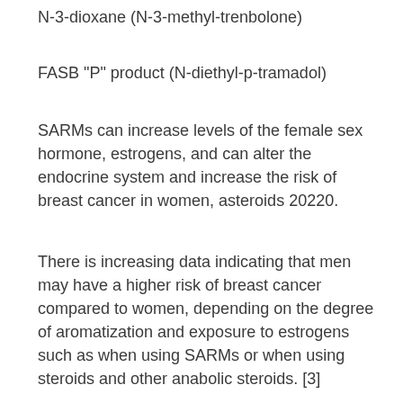N-3-dioxane (N-3-methyl-trenbolone)
FASB "P" product (N-diethyl-p-tramadol)
SARMs can increase levels of the female sex hormone, estrogens, and can alter the endocrine system and increase the risk of breast cancer in women, asteroids 20220.
There is increasing data indicating that men may have a higher risk of breast cancer compared to women, depending on the degree of aromatization and exposure to estrogens such as when using SARMs or when using steroids and other anabolic steroids. [3]
SARMs are still available for sale in Canada and have been sold as a dietary